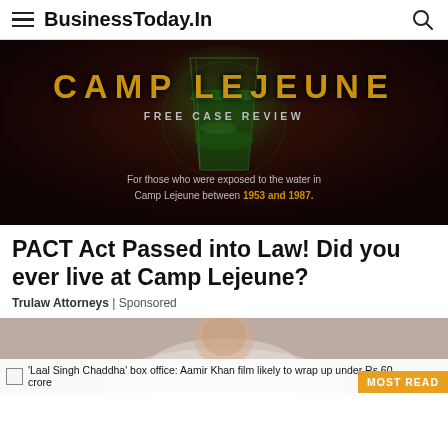BusinessToday.In
[Figure (photo): Camp Lejeune advertisement banner with dark background, green glowing glass of contaminated water, text: CAMP LEJEUNE FREE CASE REVIEW. For those who were exposed to the water in Camp Lejeune between 1953 and 1987.]
PACT Act Passed into Law! Did you ever live at Camp Lejeune?
Trulaw Attorneys | Sponsored
[Figure (photo): Partial photo of a person, appears to be a celebrity or news subject, partially visible at bottom of page]
'Laal Singh Chaddha' box office: Aamir Khan film likely to wrap up under Rs 60 crore